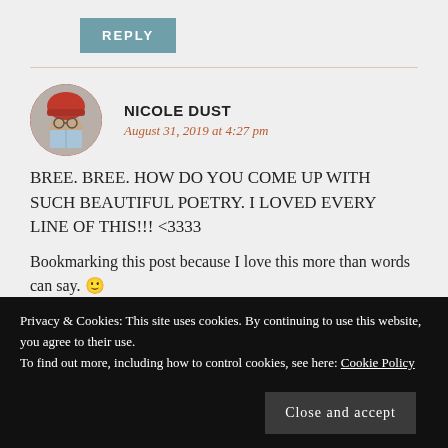REPLY
NICOLE DUST
August 31, 2019 at 4:27 pm
[Figure (photo): Circular avatar photo of a person wearing a red knit hat and glasses, holding a book up to their face]
BREE. BREE. HOW DO YOU COME UP WITH SUCH BEAUTIFUL POETRY. I LOVED EVERY LINE OF THIS!!! <3333
Bookmarking this post because I love this more than words can say. 🙂
Privacy & Cookies: This site uses cookies. By continuing to use this website, you agree to their use. To find out more, including how to control cookies, see here: Cookie Policy
Close and accept